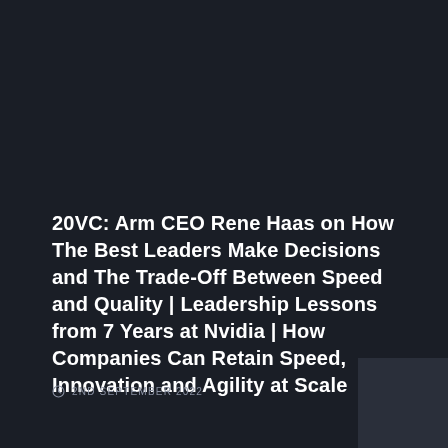20VC: Arm CEO Rene Haas on How The Best Leaders Make Decisions and The Trade-Off Between Speed and Quality | Leadership Lessons from 7 Years at Nvidia | How Companies Can Retain Speed, Innovation and Agility at Scale
2ND SEPTEMBER 2022